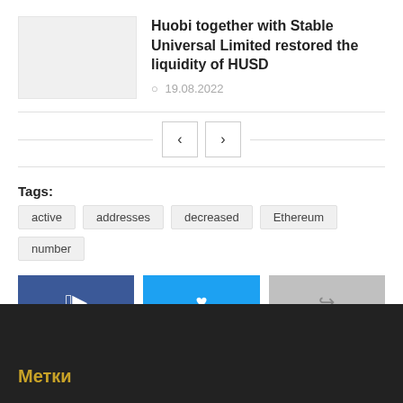Huobi together with Stable Universal Limited restored the liquidity of HUSD
19.08.2022
Tags: active  addresses  decreased  Ethereum  number
[Figure (other): Social share buttons: Facebook, Twitter, Share]
Метки